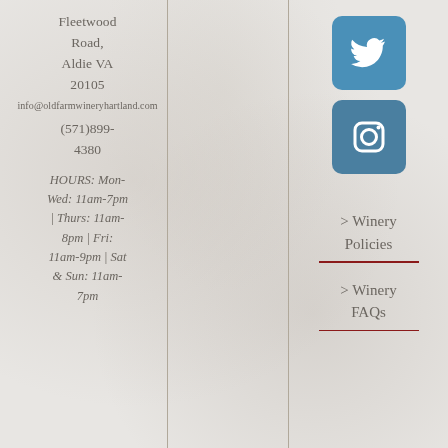Fleetwood Road, Aldie VA 20105
info@oldfarmwineryhartland.com
(571)899-4380
HOURS: Mon-Wed: 11am-7pm | Thurs: 11am-8pm | Fri: 11am-9pm | Sat & Sun: 11am-7pm
[Figure (logo): Twitter bird icon in white on blue square button]
[Figure (logo): Instagram camera icon in white on blue square button]
> Winery Policies
> Winery FAQs